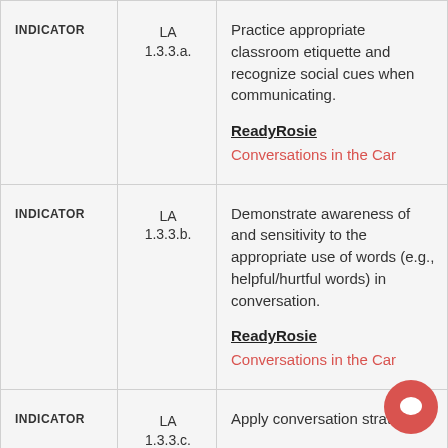|  |  |  |
| --- | --- | --- |
| INDICATOR | LA 1.3.3.a. | Practice appropriate classroom etiquette and recognize social cues when communicating.

ReadyRosie
Conversations in the Car |
| INDICATOR | LA 1.3.3.b. | Demonstrate awareness of and sensitivity to the appropriate use of words (e.g., helpful/hurtful words) in conversation.

ReadyRosie
Conversations in the Car |
| INDICATOR | LA 1.3.3.c. | Apply conversation strate... recognize new informatio... presented by others in |